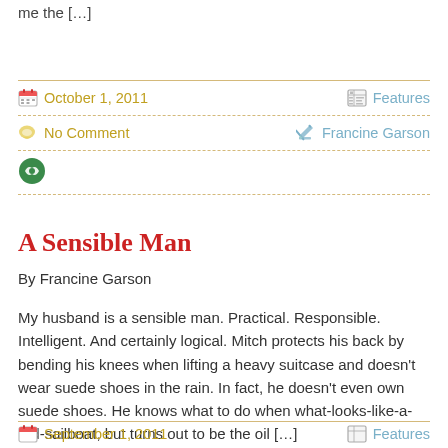me the […]
October 1, 2011
Features
No Comment
Francine Garson
A Sensible Man
By Francine Garson
My husband is a sensible man. Practical. Responsible. Intelligent. And certainly logical. Mitch protects his back by bending his knees when lifting a heavy suitcase and doesn't wear suede shoes in the rain. In fact, he doesn't even own suede shoes. He knows what to do when what-looks-like-a-red-sailboat, but turns out to be the oil […]
September 1, 2011
Features